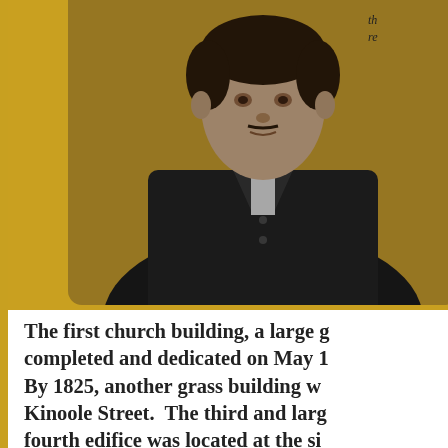[Figure (photo): Black and white photograph of a man in 19th century attire (jacket and cravat), upper body visible, set against a golden/amber background]
th... re...
The first church building, a large g... completed and dedicated on May 1... By 1825, another grass building w... Kinoole Street.  The third and larg... fourth edifice was located at the si... third building collapsed during a h... started in 1854, was completed an... destroyed the tower, ceiling and so... church was rededicated on June 1,